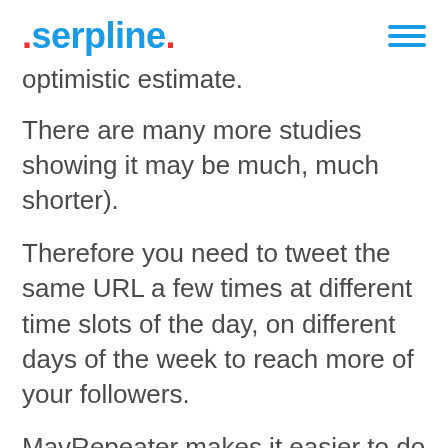serpline.
optimistic estimate.
There are many more studies showing it may be much, much shorter).
Therefore you need to tweet the same URL a few times at different time slots of the day, on different days of the week to reach more of your followers.
MavRepeater makes it easier to do that as you can easily schedule any campaign to auto-tweet days and weeks after you publish